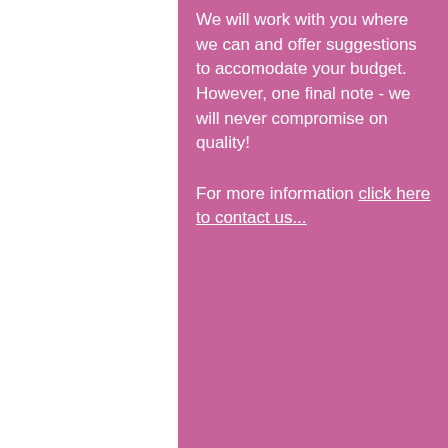We will work with you where we can and offer suggestions to accomodate your budget. However, one final note - we will never compromise on quality!
For more information click here to contact us...